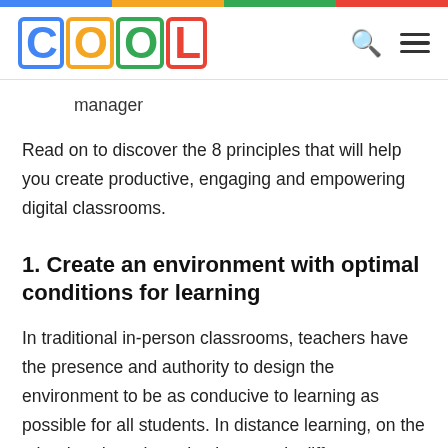COOL
manager
Read on to discover the 8 principles that will help you create productive, engaging and empowering digital classrooms.
1. Create an environment with optimal conditions for learning
In traditional in-person classrooms, teachers have the presence and authority to design the environment to be as conducive to learning as possible for all students. In distance learning, on the other hand, each student's space is different.